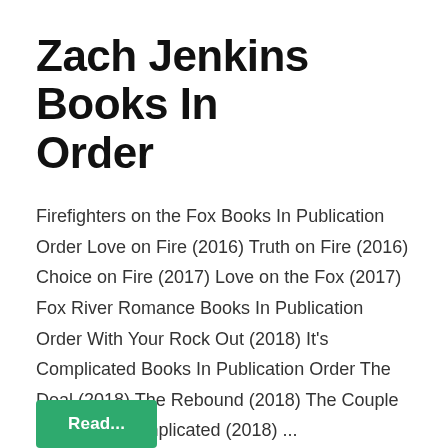Zach Jenkins Books In Order
Firefighters on the Fox Books In Publication Order Love on Fire (2016) Truth on Fire (2016) Choice on Fire (2017) Love on the Fox (2017) Fox River Romance Books In Publication Order With Your Rock Out (2018) It's Complicated Books In Publication Order The Deal (2018) The Rebound (2018) The Couple (2018) It's Complicated (2018) ...
[Figure (other): Green button partially visible at the bottom of the page, with white text starting with 'Read...' (cut off)]